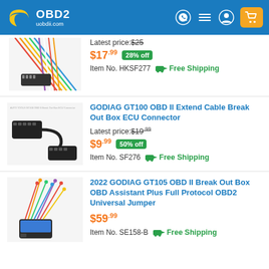OBD2 uobdii.com
[Figure (photo): Partially visible colorful wiring harness cable product image]
Latest price: $25
$17.99 28% off
Item No. HKSF277  Free Shipping
[Figure (photo): GODIAG GT100 OBD II Extend Cable Break Out Box ECU Connector product image - black OBD cable with connectors]
GODIAG GT100 OBD II Extend Cable Break Out Box ECU Connector
Latest price: $19.99
$9.99 50% off
Item No. SF276  Free Shipping
[Figure (photo): 2022 GODIAG GT105 OBD II Break Out Box with colorful wiring harness]
2022 GODIAG GT105 OBD II Break Out Box OBD Assistant Plus Full Protocol OBD2 Universal Jumper
$59.99
Item No. SE158-B  Free Shipping